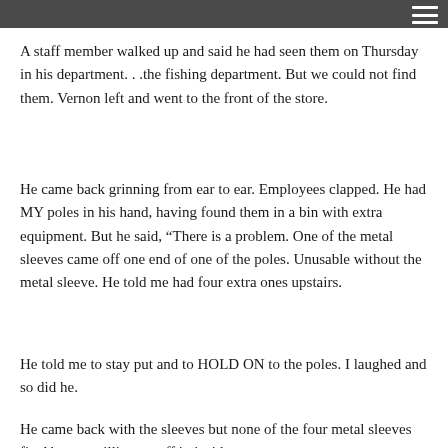A staff member walked up and said he had seen them on Thursday in his department. . .the fishing department. But we could not find them. Vernon left and went to the front of the store.
He came back grinning from ear to ear. Employees clapped. He had MY poles in his hand, having found them in a bin with extra equipment. But he said, “There is a problem. One of the metal sleeves came off one end of one of the poles. Unusable without the metal sleeve. He told me had four extra ones upstairs.
He told me to stay put and to HOLD ON to the poles. I laughed and so did he.
He came back with the sleeves but none of the four metal sleeves fit. About a millimeter off in inside